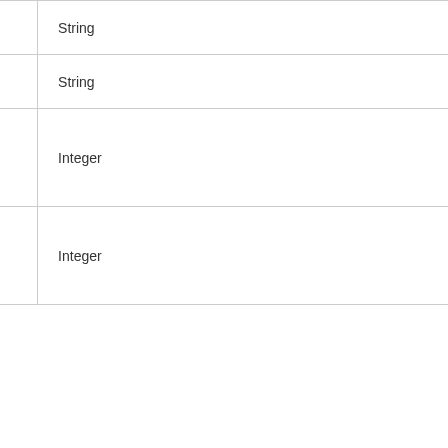| Name | Type |
| --- | --- |
| custom1 | String |
| custom2 | String |
| elements._rows | Integer |
| elements._page | Integer |
application/xml
You can supply an XML document th... must provide the ID and Value of the... content-type to application/xml. ie:
<?xml version="1.0" encodin...
<elements>
    <element>
        <id>xxxxxxxxxxxxxxxx